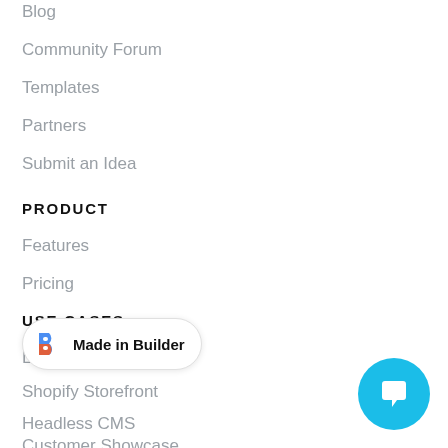Blog
Community Forum
Templates
Partners
Submit an Idea
PRODUCT
Features
Pricing
USE CASES
Landing Pages
Shopify Storefront
Headless CMS
Customer Showcase
[Figure (logo): Made in Builder badge with blue/orange B logo and bold text 'Made in Builder']
[Figure (infographic): Teal circular chat button with white speech bubble icon]